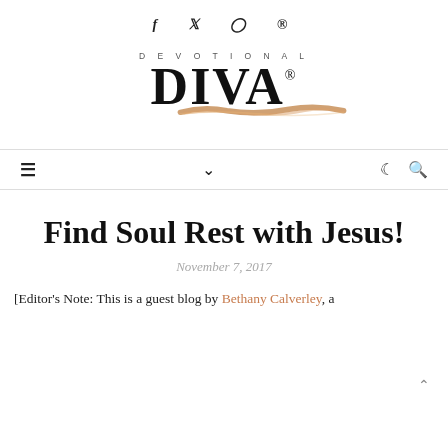f  𝕏  ⊙  ⊕
[Figure (logo): Devotional DIVA logo with decorative gold underline stroke]
≡  ∨  ☾  🔍
Find Soul Rest with Jesus!
November 7, 2017
[Editor's Note: This is a guest blog by Bethany Calverley, a